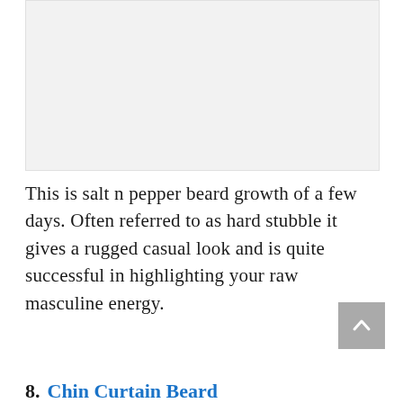[Figure (photo): Placeholder image area showing salt n pepper beard growth photo (light gray box)]
This is salt n pepper beard growth of a few days. Often referred to as hard stubble it gives a rugged casual look and is quite successful in highlighting your raw masculine energy.
8. Chin Curtain Beard